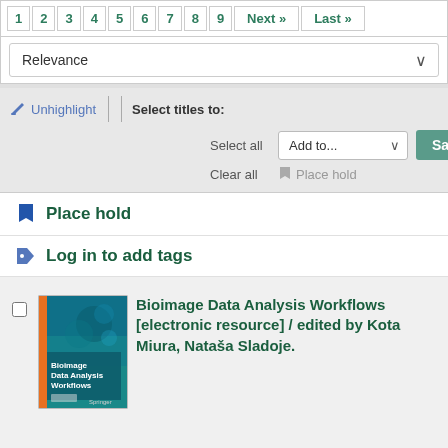1 2 3 4 5 6 7 8 9 Next » Last »
Relevance
✏ Unhighlight | Select titles to:
Select all   Add to...  Save
Clear all   🔖 Place hold
🔖 Place hold
🏷 Log in to add tags
[Figure (photo): Book cover of 'Bioimage Data Analysis Workflows' published by Springer, teal/blue color with scientific imagery]
Bioimage Data Analysis Workflows [electronic resource] / edited by Kota Miura, Nataša Sladoje.